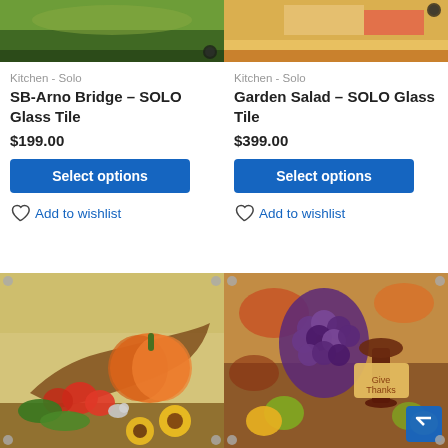[Figure (photo): Partial top of a landscape/bridge painting glass tile - left product image (cropped)]
[Figure (photo): Partial top of a garden salad painting glass tile - right product image (cropped)]
Kitchen - Solo
SB-Arno Bridge – SOLO Glass Tile
$199.00
Select options
Add to wishlist
Kitchen - Solo
Garden Salad – SOLO Glass Tile
$399.00
Select options
Add to wishlist
[Figure (photo): Cornucopia with pumpkin, apples, sunflowers and harvest vegetables painting on glass tile]
[Figure (photo): Autumn harvest with grapes, fruits and fall leaves painting on glass tile]